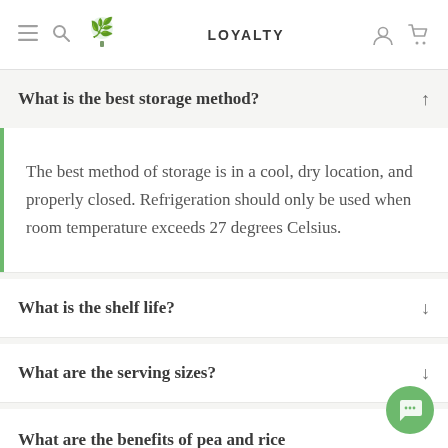[Figure (screenshot): Navigation bar with hamburger menu, search icon, green tree logo, LOYALTY text, user icon, and cart icon]
What is the best storage method?
The best method of storage is in a cool, dry location, and properly closed. Refrigeration should only be used when room temperature exceeds 27 degrees Celsius.
What is the shelf life?
What are the serving sizes?
What are the benefits of pea and rice protein?